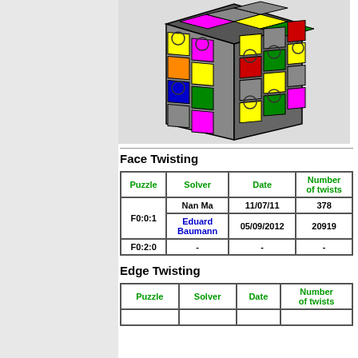[Figure (photo): 3D puzzle cube with colorful patterned faces including circles, squares in colors: magenta, yellow, green, blue, red, orange, gray, white]
Face Twisting
| Puzzle | Solver | Date | Number of twists |
| --- | --- | --- | --- |
| F0:0:1 | Nan Ma | 11/07/11 | 378 |
| F0:0:1 | Eduard Baumann | 05/09/2012 | 20919 |
| F0:2:0 | - | - | - |
Edge Twisting
| Puzzle | Solver | Date | Number of twists |
| --- | --- | --- | --- |